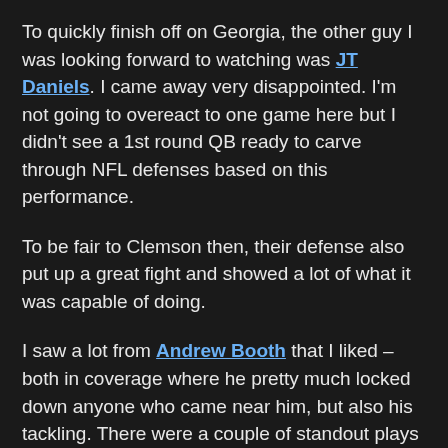To quickly finish off on Georgia, the other guy I was looking forward to watching was JT Daniels. I came away very disappointed. I'm not going to overeact to one game here but I didn't see a 1st round QB ready to carve through NFL defenses based on this performance.
To be fair to Clemson then, their defense also put up a great fight and showed a lot of what it was capable of doing.
I saw a lot from Andrew Booth that I liked – both in coverage where he pretty much locked down anyone who came near him, but also his tackling. There were a couple of standout plays from him; a great open field tackle early in the game to prevent a 1st down, breaking free from a blocker on his way to bringing down the running back, and then the way he diagnosed a screen pass in the 4th quarter, ran downhill and made an inch-perfect tackle to blow that play up before the back could barely make a